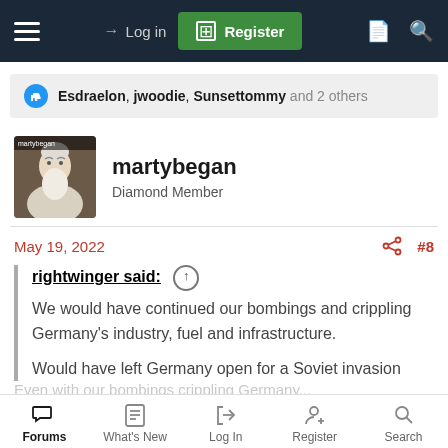Log in | Register
Esdraelon, jwoodie, Sunsettommy and 2 others
martybegan
Diamond Member
May 19, 2022  #8
rightwinger said:
We would have continued our bombings and crippling Germany's industry, fuel and infrastructure.

Would have left Germany open for a Soviet invasion
Forums | What's New | Log In | Register | Search